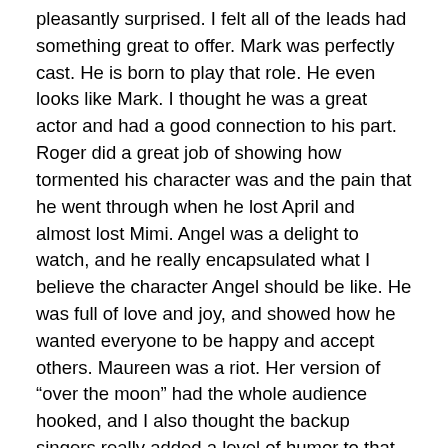pleasantly surprised. I felt all of the leads had something great to offer. Mark was perfectly cast. He is born to play that role. He even looks like Mark. I thought he was a great actor and had a good connection to his part. Roger did a great job of showing how tormented his character was and the pain that he went through when he lost April and almost lost Mimi. Angel was a delight to watch, and he really encapsulated what I believe the character Angel should be like. He was full of love and joy, and showed how he wanted everyone to be happy and accept others. Maureen was a riot. Her version of “over the moon” had the whole audience hooked, and I also thought the backup singers really added a level of humor to that song. I couldn’t stop laughing. Benny was decent, I just wish his mic would have been a little louder, I could tell that he had a nice voice. Collins was fantastic. His love for Angel seemed so real, and he captured the sadness one would feel if his or her lover died. Joanne’s voice was clear and soulful, and even though it may have been better if she